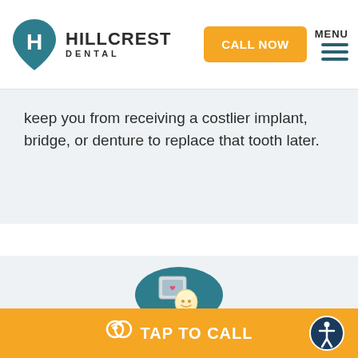[Figure (logo): Hillcrest Dental logo with teal heart-tooth shield icon and text HILLCREST DENTAL]
keep you from receiving a costlier implant, bridge, or denture to replace that tooth later.
[Figure (illustration): Teal circle icon containing a cartoon tooth with a heart X-ray image illustration]
Do You Accept Walk-ins And Emergency Appointments?
Yes, we do! At Hillcrest Dental, we accept
TAP TO CALL